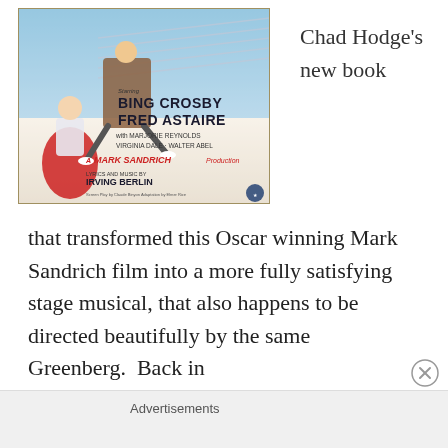[Figure (illustration): Movie poster for a film starring Bing Crosby and Fred Astaire, with Marjorie Reynolds, Virginia Dale, Walter Abel. A Mark Sandrich Production. Lyrics and music by Irving Berlin.]
Chad Hodge's new book
that transformed this Oscar winning Mark Sandrich film into a more fully satisfying stage musical, that also happens to be directed beautifully by the same Greenberg.  Back in
Advertisements